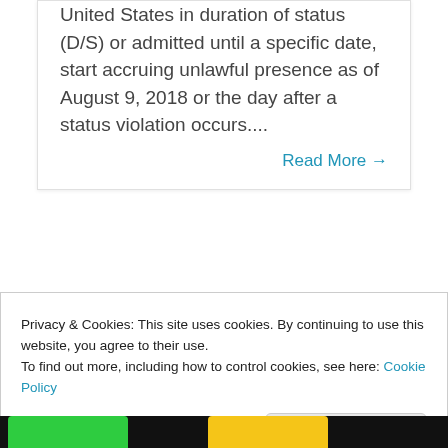United States in duration of status (D/S) or admitted until a specific date, start accruing unlawful presence as of August 9, 2018 or the day after a status violation occurs....
Read More →
Privacy & Cookies: This site uses cookies. By continuing to use this website, you agree to their use.
To find out more, including how to control cookies, see here: Cookie Policy